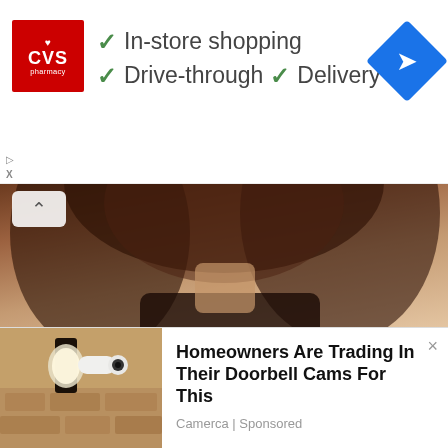[Figure (screenshot): CVS Pharmacy advertisement banner showing logo, checkmarks for 'In-store shopping', 'Drive-through', 'Delivery', and a blue navigation diamond icon]
[Figure (photo): Partial photo of a woman with brown wavy hair, neck and shoulder visible, dark top]
Get Exclusive Big Fat Fabulous Life News, Recaps & More In You Inbox Daily!
[Figure (screenshot): Bottom ad overlay: photo of outdoor security camera on stone wall, with text 'Homeowners Are Trading In Their Doorbell Cams For This' by Camerca | Sponsored, and close X button]